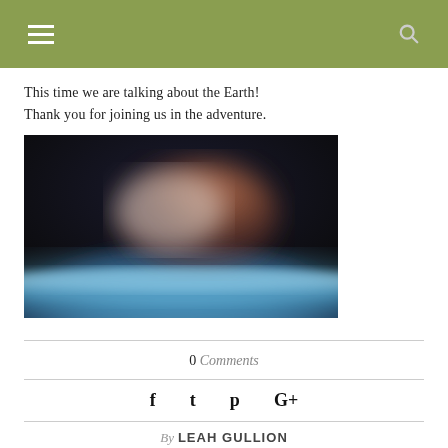Navigation header with hamburger menu and search icon
This time we are talking about the Earth! Thank you for joining us in the adventure.
[Figure (photo): Photograph of Earth from space showing the curved horizon with atmosphere glow, dark space background, and brownish landmass visible at top]
0 Comments
Social share icons: Facebook, Twitter, Pinterest, Google+
By LEAH GULLION